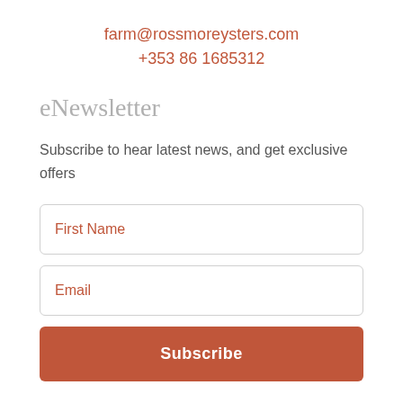farm@rossmoreysters.com
+353 86 1685312
eNewsletter
Subscribe to hear latest news, and get exclusive offers
First Name
Email
Subscribe